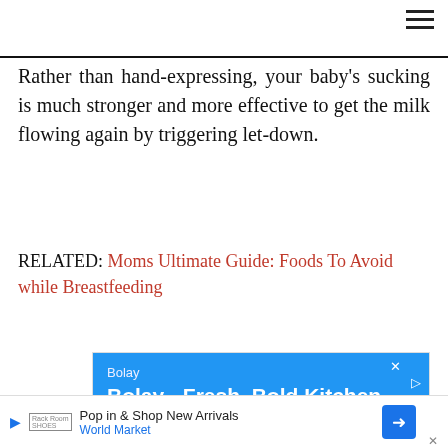Rather than hand-expressing, your baby's sucking is much stronger and more effective to get the milk flowing again by triggering let-down.
RELATED: Moms Ultimate Guide: Foods To Avoid while Breastfeeding
[Figure (screenshot): Advertisement for Bolay - Fresh, Bold Kitchen. Blue background with white text showing brand name Bolay, tagline 'Fresh, Healthy Ingredients. Bold Flavors. Online Order.' with a partial map showing Gainesville below.]
[Figure (screenshot): Bottom banner advertisement: Play icon, Rack Room Shoes logo, text 'Pop in & Shop New Arrivals', 'World Market' in blue, with a blue diamond arrow icon on the right.]